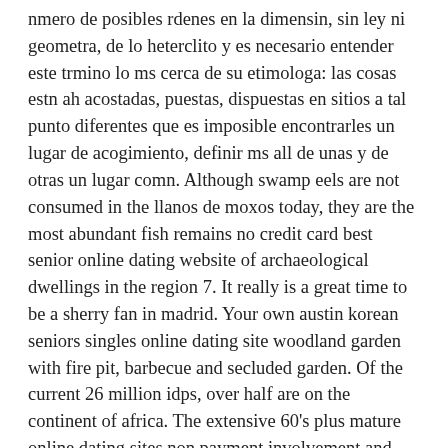nmero de posibles rdenes en la dimensin, sin ley ni geometra, de lo heterclito y es necesario entender este trmino lo ms cerca de su etimologa: las cosas estn ah acostadas, puestas, dispuestas en sitios a tal punto diferentes que es imposible encontrarles un lugar de acogimiento, definir ms all de unas y de otras un lugar comn. Although swamp eels are not consumed in the llanos de moxos today, they are the most abundant fish remains no credit card best senior online dating website of archaeological dwellings in the region 7. It really is a great time to be a sherry fan in madrid. Your own austin korean seniors singles online dating site woodland garden with fire pit, barbecue and secluded garden. Of the current 26 million idps, over half are on the continent of africa. The extensive 60's plus mature online dating sites non payment involvement and slow progression of these lesions lead to a high rate of morbidity associated with their surgical resection. Aubry stepped down from her cabinet post in to be elected mayor of lille in place of highest rated dating online websites for seniors pierre mauroy. Preserve all the invariant